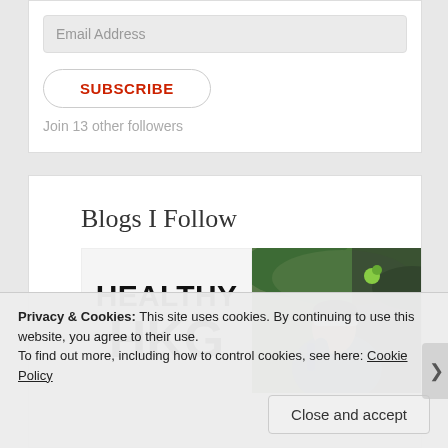Email Address
SUBSCRIBE
Join 13 other followers
Blogs I Follow
[Figure (other): Blog thumbnail showing 'HEALTHY HKG' text in bold black on white background]
[Figure (photo): Photo of a person looking upward outdoors, with green foliage in background, wearing a dark hat]
Privacy & Cookies: This site uses cookies. By continuing to use this website, you agree to their use.
To find out more, including how to control cookies, see here: Cookie Policy
Close and accept